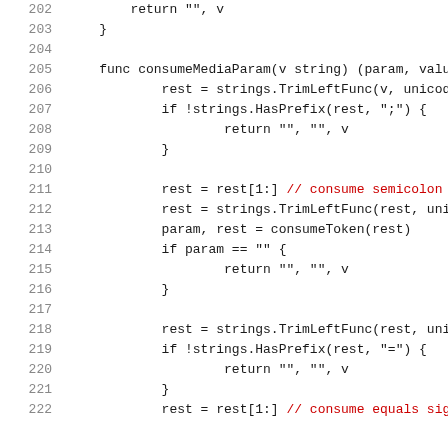202        return "", v
203    }
204
205    func consumeMediaParam(v string) (param, value,
206            rest = strings.TrimLeftFunc(v, unicode.
207            if !strings.HasPrefix(rest, ";") {
208                    return "", "", v
209            }
210
211            rest = rest[1:] // consume semicolon
212            rest = strings.TrimLeftFunc(rest, unico
213            param, rest = consumeToken(rest)
214            if param == "" {
215                    return "", "", v
216            }
217
218            rest = strings.TrimLeftFunc(rest, unico
219            if !strings.HasPrefix(rest, "=") {
220                    return "", "", v
221            }
222            rest = rest[1:] // consume equals sign